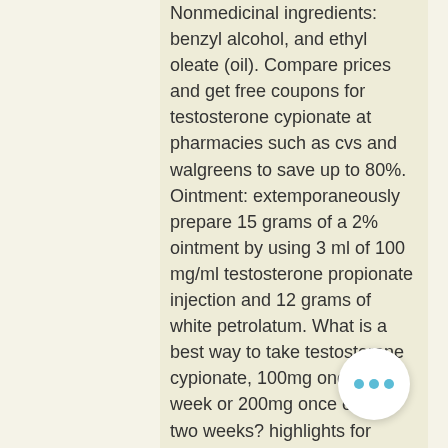Nonmedicinal ingredients: benzyl alcohol, and ethyl oleate (oil). Compare prices and get free coupons for testosterone cypionate at pharmacies such as cvs and walgreens to save up to 80%. Ointment: extemporaneously prepare 15 grams of a 2% ointment by using 3 ml of 100 mg/ml testosterone propionate injection and 12 grams of white petrolatum. What is a best way to take testosterone cypionate, 100mg once a week or 200mg once every two weeks? highlights for testosterone cypionate 1. Prior to treatment, confirm diagnosis by ensuring serum testosterone is below. Apply 50 mg once daily; increased in steps of 25 mg, adjusted according to response; maximum 100 mg per day. Testosterone cypionate injectable à longue action 100mg/ml. This medication is a male-hormone supplement. Typically, it is used for hormonal problems. Serovital anti-aging hgh supplement. Brain-